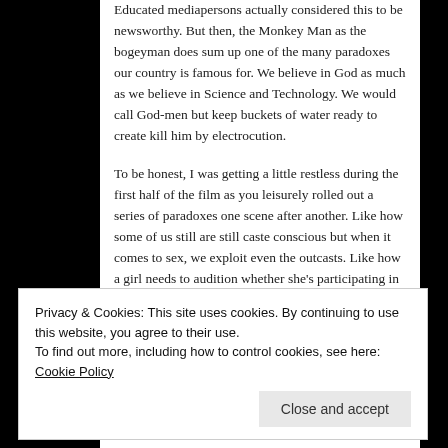Educated mediapersons actually considered this to be newsworthy. But then, the Monkey Man as the bogeyman does sum up one of the many paradoxes our country is famous for. We believe in God as much as we believe in Science and Technology. We would call God-men but keep buckets of water ready to create kill him by electrocution.
To be honest, I was getting a little restless during the first half of the film as you leisurely rolled out a series of paradoxes one scene after another. Like how some of us still are still caste conscious but when it comes to sex, we exploit even the outcasts. Like how a girl needs to audition whether she's participating in Indian Idol or getting a groom. Or like how you flip channels between our dual specialisation in science and
Privacy & Cookies: This site uses cookies. By continuing to use this website, you agree to their use.
To find out more, including how to control cookies, see here: Cookie Policy
matter-of-factness with which you have